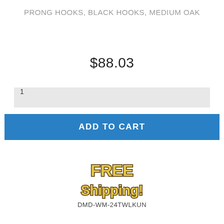PRONG HOOKS, BLACK HOOKS, MEDIUM OAK
$88.03
1
ADD TO CART
[Figure (illustration): FREE Shipping! badge with golden/brown styled text on white background]
DMD-WM-24TWLKUN